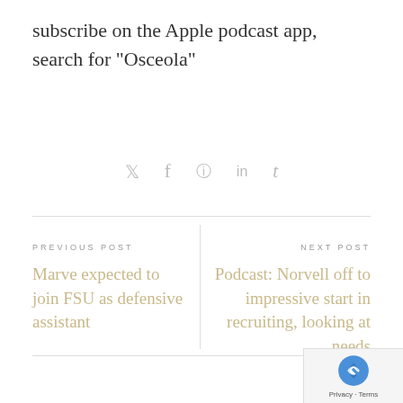subscribe on the Apple podcast app, search for “Osceola”
[Figure (infographic): Social media share icons: Twitter, Facebook, Pinterest, LinkedIn, Tumblr]
PREVIOUS POST
Marve expected to join FSU as defensive assistant
NEXT POST
Podcast: Norvell off to impressive start in recruiting, looking at needs
[Figure (logo): reCAPTCHA badge with Privacy and Terms text]